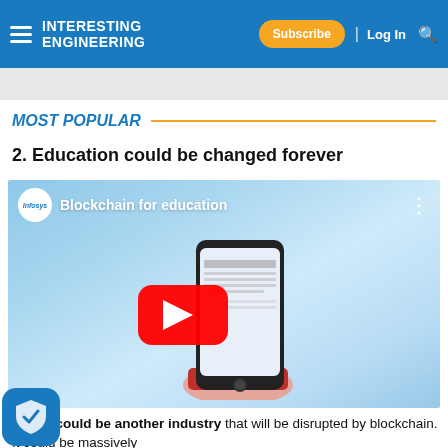Interesting Engineering — Subscribe | Log In
MOST POPULAR
2. Education could be changed forever
[Figure (screenshot): YouTube video embed from Infosys titled 'Blockchain for education', showing a hand holding a smartphone with a document on screen, and a red YouTube play button overlay]
Education could be another industry that will be disrupted by blockchain. It could be massively